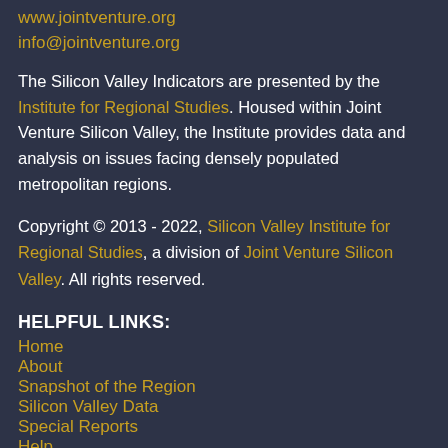www.jointventure.org
info@jointventure.org
The Silicon Valley Indicators are presented by the Institute for Regional Studies. Housed within Joint Venture Silicon Valley, the Institute provides data and analysis on issues facing densely populated metropolitan regions.
Copyright © 2013 - 2022, Silicon Valley Institute for Regional Studies, a division of Joint Venture Silicon Valley. All rights reserved.
HELPFUL LINKS:
Home
About
Snapshot of the Region
Silicon Valley Data
Special Reports
Help
Privacy Policy